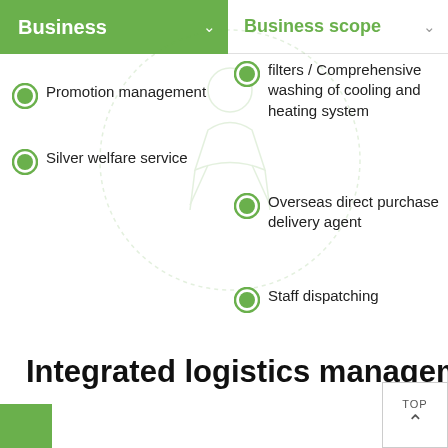Business
Business scope
Promotion management
Silver welfare service
filters / Comprehensive washing of cooling and heating system
Overseas direct purchase delivery agent
Staff dispatching
Integrated logistics management